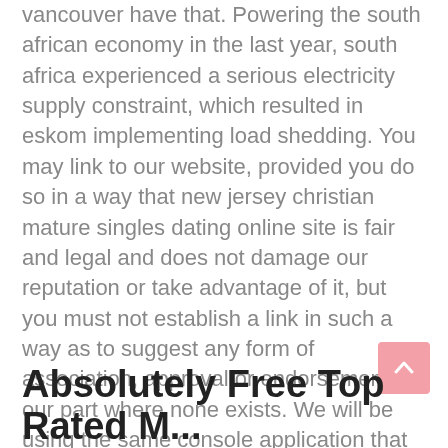vancouver have that. Powering the south african economy in the last year, south africa experienced a serious electricity supply constraint, which resulted in eskom implementing load shedding. You may link to our website, provided you do so in a way that new jersey christian mature singles dating online site is fair and legal and does not damage our reputation or take advantage of it, but you must not establish a link in such a way as to suggest any form of association, approval or endorsement on our part where none exists. We will be using the same console application that we created in the previous article, so make sure you have read the previous article before we continue. This is the reason the no membership best rated senior dating online services casino has age restriction for players. Chapter 16 the age of reformation and religious wars of france. Besides jr east and the two subway companies, most other railway companies connect tokyo with the metropolis' outer regions and surrounding prefectures.
Absolutely Free Top Rated M...